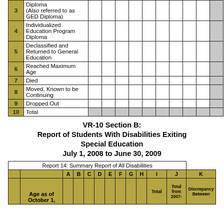| # | Description | A | B | C | D | E | F | G | H | I | J | K |
| --- | --- | --- | --- | --- | --- | --- | --- | --- | --- | --- | --- | --- |
| 3 | Diploma
(Also referred to as GED Diploma) |  |  |  |  |  |  |  |  |  |  |  |
| 4 | Individualized Education Program Diploma |  |  |  |  |  |  |  |  |  |  |  |
| 5 | Declassified and Returned to General Education |  |  |  |  |  |  |  |  |  |  |  |
| 6 | Reached Maximum Age |  |  |  |  |  |  |  |  |  |  |  |
| 7 | Died |  |  |  |  |  |  |  |  |  |  |  |
| 8 | Moved, Known to be Continuing |  |  |  |  |  |  |  |  |  |  |  |
| 9 | Dropped Out |  |  |  |  |  |  |  |  |  |  |  |
| 10 | Total |  |  |  |  |  |  |  |  |  |  |  |
VR-10 Section B:
Report of Students With Disabilities Exiting Special Education
July 1, 2008 to June 30, 2009
|  |  | A | B | C | D | E | F | G | H | I Total | J Total from 2007- | K Discrepancy Between |
| --- | --- | --- | --- | --- | --- | --- | --- | --- | --- | --- | --- | --- |
|  | Age as of October 1, |  |  |  |  |  |  |  |  | Total | Total from 2007- | Discrepancy Between |